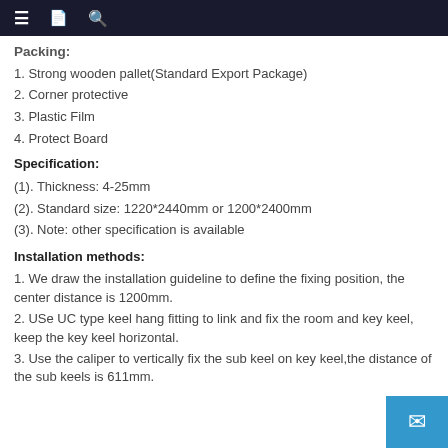≡  [book icon]  [search icon]
Packing:
1. Strong wooden pallet(Standard Export Package)
2. Corner protective
3. Plastic Film
4. Protect Board
Specification:
(1). Thickness: 4-25mm
(2). Standard size: 1220*2440mm or 1200*2400mm
(3). Note: other specification is available
Installation methods:
1. We draw the installation guideline to define the fixing position, the center distance is 1200mm.
2. USe UC type keel hang fitting to link and fix the room and key keel, keep the key keel horizontal.
3. Use the caliper to vertically fix the sub keel on key keel,the distance of the sub keels is 611mm.